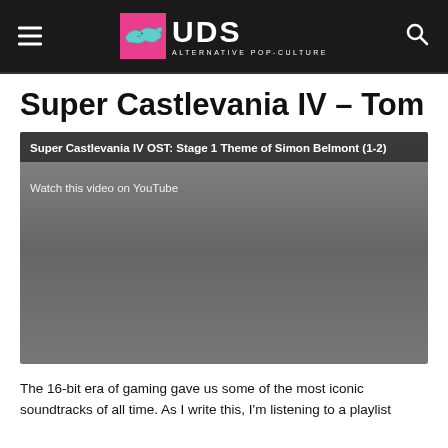UDS — ALTERNATIVE POP-CULTURE
Super Castlevania IV – Tom
[Figure (screenshot): Embedded YouTube video placeholder showing 'Super Castlevania IV OST: Stage 1 Theme of Simon Belmont (1-2)' with overlay text 'Watch this video on YouTube']
The 16-bit era of gaming gave us some of the most iconic soundtracks of all time. As I write this, I'm listening to a playlist